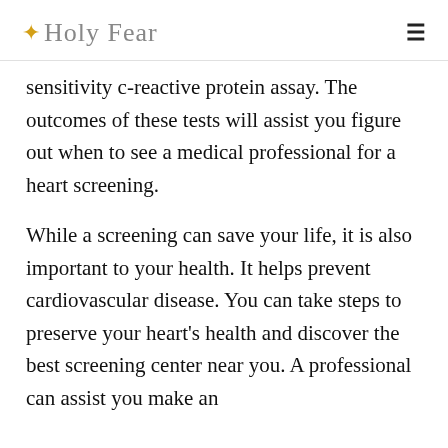✦ Holy Fear
sensitivity c-reactive protein assay. The outcomes of these tests will assist you figure out when to see a medical professional for a heart screening.
While a screening can save your life, it is also important to your health. It helps prevent cardiovascular disease. You can take steps to preserve your heart's health and discover the best screening center near you. A professional can assist you make an